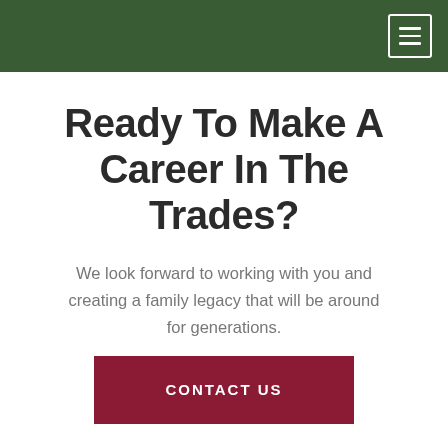Ready To Make A Career In The Trades?
We look forward to working with you and creating a family legacy that will be around for generations.
CONTACT US